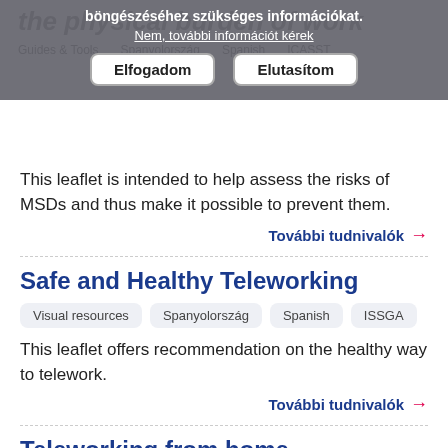böngészéséhez szükséges információkat.
Nem, további információt kérek
Elfogadom   Elutasítom
the physical burden of work
Guides & Tools   Spanyolország   Spanish   ICASST
This leaflet is intended to help assess the risks of MSDs and thus make it possible to prevent them.
További tudnivalók →
Safe and Healthy Teleworking
Visual resources
Spanyolország
Spanish
ISSGA
This leaflet offers recommendation on the healthy way to telework.
További tudnivalók →
Teleworking from home